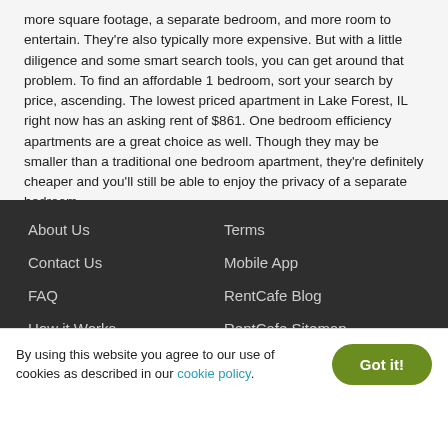more square footage, a separate bedroom, and more room to entertain. They're also typically more expensive. But with a little diligence and some smart search tools, you can get around that problem. To find an affordable 1 bedroom, sort your search by price, ascending. The lowest priced apartment in Lake Forest, IL right now has an asking rent of $861. One bedroom efficiency apartments are a great choice as well. Though they may be smaller than a traditional one bedroom apartment, they're definitely cheaper and you'll still be able to enjoy the privacy of a separate bedroom.
Finding a home nearby is easier than you think. Check out our Apartments Near Me page and take your pick!
About Us | Contact Us | FAQ | How it Works | List with RentCafe | Terms | Mobile App | RentCafe Blog | RentCafe Sitemap | Accessibility Statement
By using this website you agree to our use of cookies as described in our cookie policy.